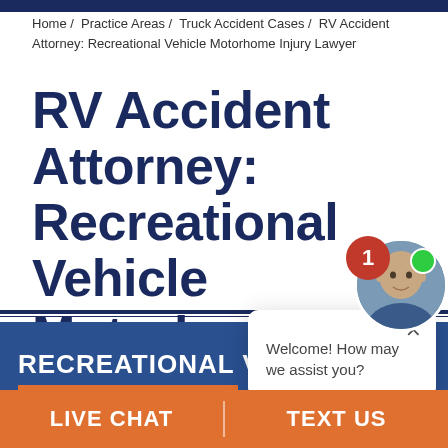Home / Practice Areas / Truck Accident Cases / RV Accident Attorney: Recreational Vehicle Motorhome Injury Lawyer
RV Accident Attorney: Recreational Vehicle Motorhome Lawyer
[Figure (screenshot): Chat popup with close button and text: Welcome! How may we assist you?]
[Figure (photo): Agent avatar photo of a bald man with a notification badge showing 1 and a green online indicator dot]
RECREATIONAL VEHICLE
LIVE CHAT   TEXT US